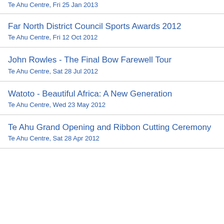Te Ahu Centre, Fri 25 Jan 2013
Far North District Council Sports Awards 2012
Te Ahu Centre, Fri 12 Oct 2012
John Rowles - The Final Bow Farewell Tour
Te Ahu Centre, Sat 28 Jul 2012
Watoto - Beautiful Africa: A New Generation
Te Ahu Centre, Wed 23 May 2012
Te Ahu Grand Opening and Ribbon Cutting Ceremony
Te Ahu Centre, Sat 28 Apr 2012